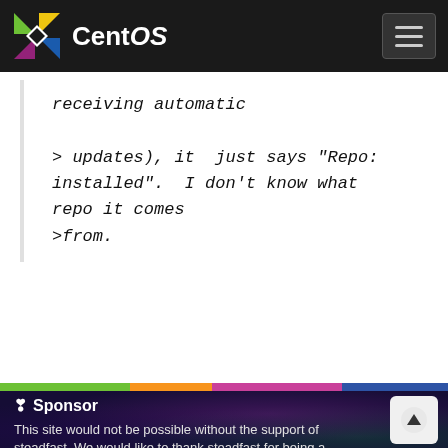CentOS
receiving automatic

> updates), it  just says "Repo: installed".  I don't know what repo it comes
>from.
Sponsor
This site would not be possible without the support of steadfast. We would like to thank steadfast for being a